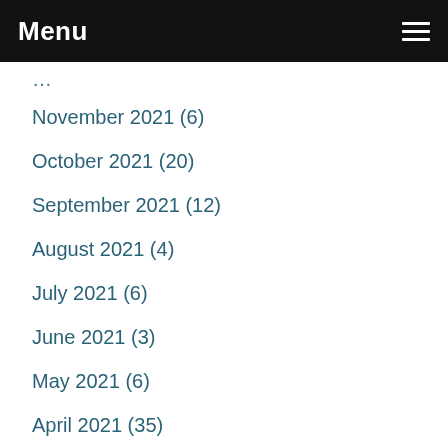Menu
November 2021 (6)
October 2021 (20)
September 2021 (12)
August 2021 (4)
July 2021 (6)
June 2021 (3)
May 2021 (6)
April 2021 (35)
March 2021 (59)
February 2021 (61)
January 2021 (59)
December 2020 (62)
November 2020 (51)
October 2020 (31)